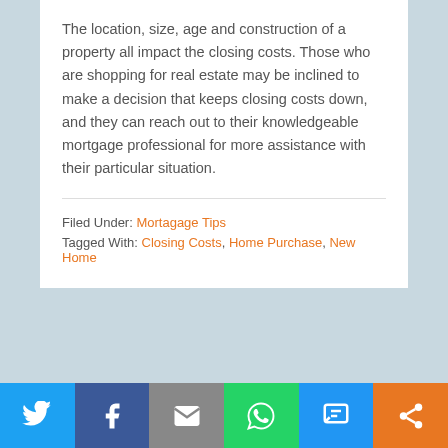The location, size, age and construction of a property all impact the closing costs. Those who are shopping for real estate may be inclined to make a decision that keeps closing costs down, and they can reach out to their knowledgeable mortgage professional for more assistance with their particular situation.
Filed Under: Mortagage Tips
Tagged With: Closing Costs, Home Purchase, New Home
1  2  3  … 16  Next Page »